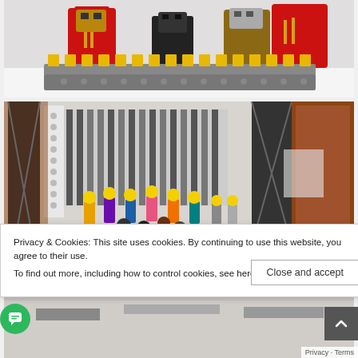[Figure (photo): LEGO build of a stage/throne scene with red robot characters and gold chains, grey base with yellow battlements]
[Figure (photo): LEGO minifigures sitting in an audience/theater setting with scaffolding and brown walls in background]
Privacy & Cookies: This site uses cookies. By continuing to use this website, you agree to their use. To find out more, including how to control cookies, see here: Privacy Policy
[Figure (screenshot): Close and accept button for cookie consent banner]
[Figure (photo): Partial LEGO scene visible at bottom of page]
Privacy · Terms